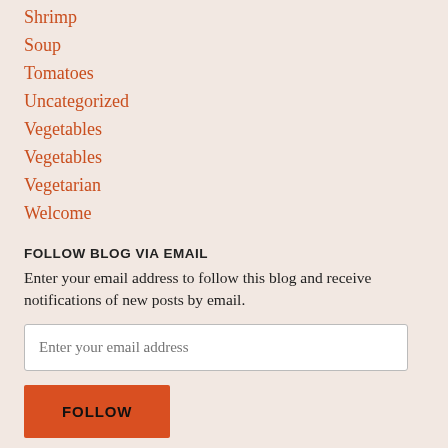Shrimp
Soup
Tomatoes
Uncategorized
Vegetables
Vegetables
Vegetarian
Welcome
FOLLOW BLOG VIA EMAIL
Enter your email address to follow this blog and receive notifications of new posts by email.
Enter your email address
FOLLOW